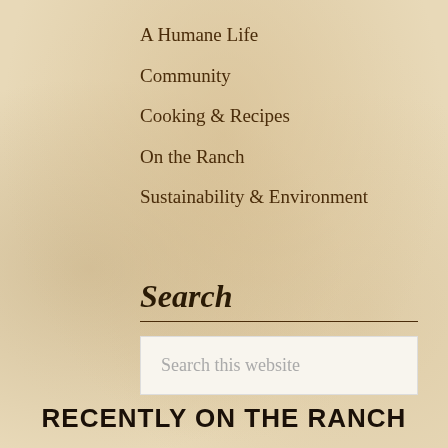A Humane Life
Community
Cooking & Recipes
On the Ranch
Sustainability & Environment
Search
Search this website
RECENTLY ON THE RANCH